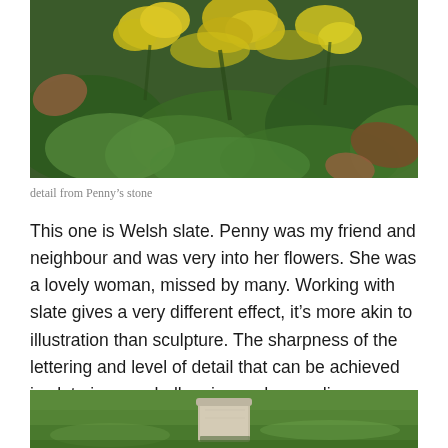[Figure (photo): Close-up photograph of yellow flowers and large green leaves with some brown autumn leaves, detail from a carved stone memorial]
detail from Penny's stone
This one is Welsh slate. Penny was my friend and neighbour and was very into her flowers. She was a lovely woman, missed by many. Working with slate gives a very different effect, it's more akin to illustration than sculpture. The sharpness of the lettering and level of detail that can be achieved in slate is very challenging and rewarding.
[Figure (photo): Photograph of a grassy cemetery or garden area with a small stone memorial marker or gravestone visible in the center on green grass]